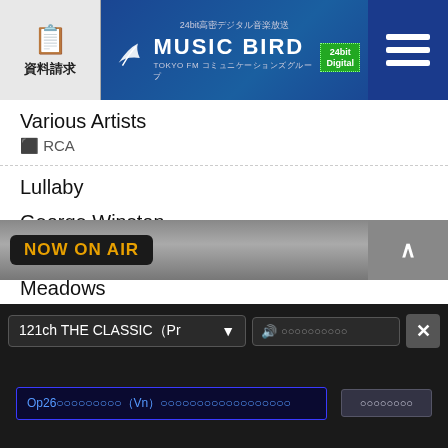資料請求 / MUSIC BIRD 24bit Digital
Various Artists
⬛ RCA
Lullaby
George Winston
⬛ Windham Hill
Meadows
Wayne Gratz
⬛ EMI
Through Your Eyes
[Figure (screenshot): NOW ON AIR banner in dark metallic bar]
121ch THE CLASSIC（Pr▼
Op26　　　　　　　　　（Vn）